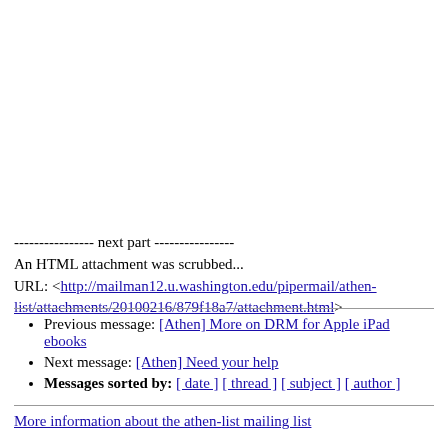---------------- next part ----------------
An HTML attachment was scrubbed...
URL: <http://mailman12.u.washington.edu/pipermail/athen-list/attachments/20100216/879f18a7/attachment.html>
Previous message: [Athen] More on DRM for Apple iPad ebooks
Next message: [Athen] Need your help
Messages sorted by: [ date ] [ thread ] [ subject ] [ author ]
More information about the athen-list mailing list